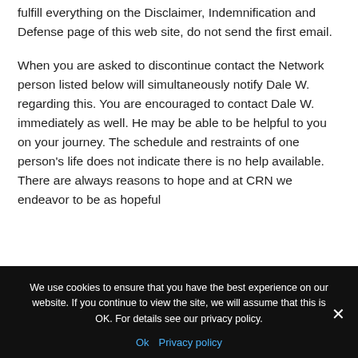fulfill everything on the Disclaimer, Indemnification and Defense page of this web site, do not send the first email.
When you are asked to discontinue contact the Network person listed below will simultaneously notify Dale W. regarding this. You are encouraged to contact Dale W. immediately as well. He may be able to be helpful to you on your journey. The schedule and restraints of one person's life does not indicate there is no help available. There are always reasons to hope and at CRN we endeavor to be as hopeful
We use cookies to ensure that you have the best experience on our website. If you continue to view the site, we will assume that this is OK. For details see our privacy policy.
Ok   Privacy policy